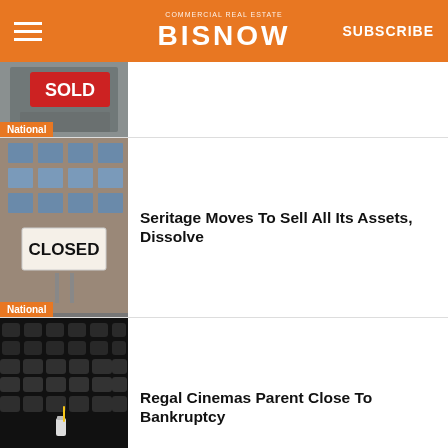BISNOW
[Figure (photo): SOLD sign on building - National tag]
[Figure (photo): CLOSED sign on storefront building - National tag]
Seritage Moves To Sell All Its Assets, Dissolve
[Figure (photo): Empty cinema seats - National tag]
Regal Cinemas Parent Close To Bankruptcy
[Figure (photo): Construction workers at apartment building site - National tag]
U.S. Apartment Construction Remains Near 50-Year High, Led By New York
[Figure (photo): MSC cargo ship at port - National tag]
Fresh Supply Chain Woes Cropping Up In Europe, Asia
[Figure (photo): Aerial/overhead view - partial]
This Time For Sure? Apple Mandates 3 Days…